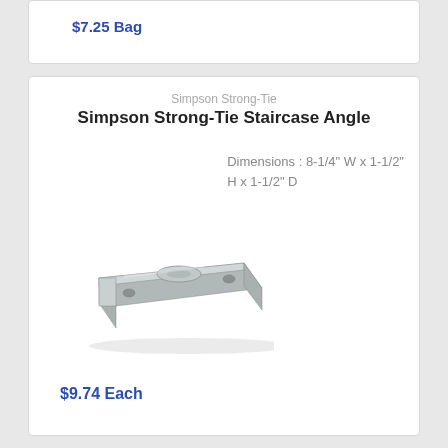$7.25 Bag
Simpson Strong-Tie
Simpson Strong-Tie Staircase Angle
Dimensions : 8-1/4" W x 1-1/2" H x 1-1/2" D
[Figure (photo): Photo of a galvanized steel staircase angle bracket with mounting holes]
$9.74 Each
Gilpin
Gilpin Windsor Plus Wrought Iron Railing Universal Fitting Set
Material : Steel
[Figure (photo): Partial photo of a black wrought iron railing fitting]